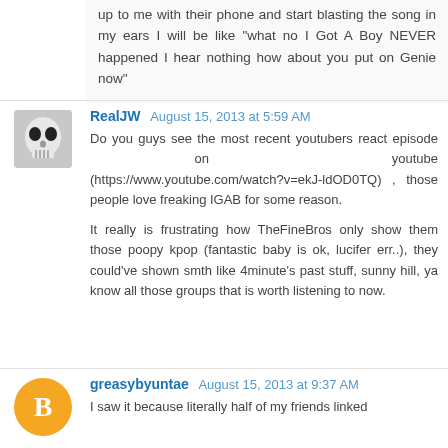up to me with their phone and start blasting the song in my ears I will be like "what no I Got A Boy NEVER happened I hear nothing how about you put on Genie now"
RealJW  August 15, 2013 at 5:59 AM
Do you guys see the most recent youtubers react episode on youtube (https://www.youtube.com/watch?v=ekJ-ldOD0TQ) , those people love freaking IGAB for some reason.

It really is frustrating how TheFineBros only show them those poopy kpop (fantastic baby is ok, lucifer err..), they could've shown smth like 4minute's past stuff, sunny hill, ya know all those groups that is worth listening to now.
greasybyuntae  August 15, 2013 at 9:37 AM
I saw it because literally half of my friends linked